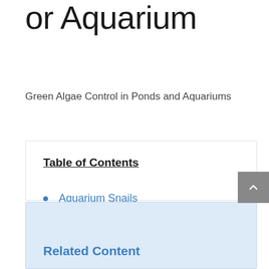or Aquarium
Green Algae Control in Ponds and Aquariums
Table of Contents
Aquarium Snails
Aquarium Water
Pond Water
Related Content